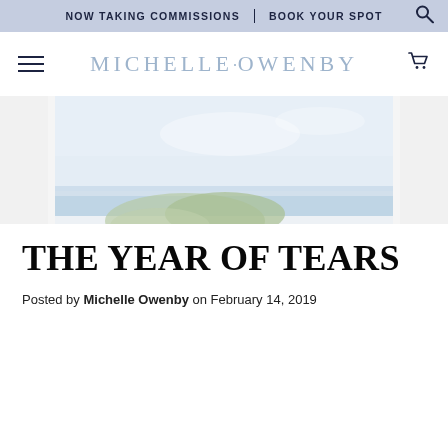NOW TAKING COMMISSIONS | BOOK YOUR SPOT
MICHELLE·OWENBY
[Figure (illustration): A soft watercolor painting of a coastal scene viewed through sheer white curtains, showing green trees, a blue bay, and a pale sky.]
THE YEAR OF TEARS
Posted by Michelle Owenby on February 14, 2019